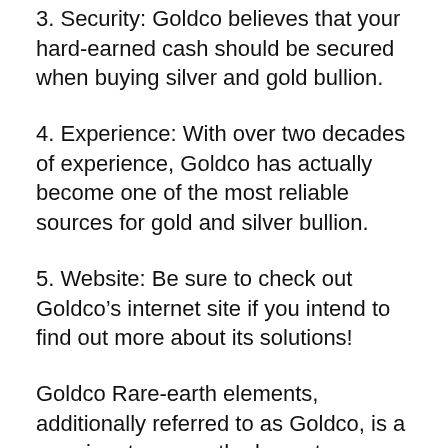3. Security: Goldco believes that your hard-earned cash should be secured when buying silver and gold bullion.
4. Experience: With over two decades of experience, Goldco has actually become one of the most reliable sources for gold and silver bullion.
5. Website: Be sure to check out Goldco’s internet site if you intend to find out more about its solutions!
Goldco Rare-earth elements, additionally referred to as Goldco, is a prominent rare-earth elements company based in Woodland